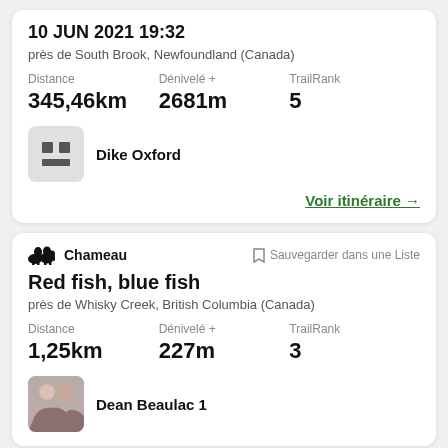10 JUN 2021 19:32
près de South Brook, Newfoundland (Canada)
Distance 345,46km | Dénivelé + 2681m | TrailRank 5
Dike Oxford
Voir itinéraire →
Chameau | Sauvegarder dans une Liste
Red fish, blue fish
près de Whisky Creek, British Columbia (Canada)
Distance 1,25km | Dénivelé + 227m | TrailRank 3
Dean Beaulac 1